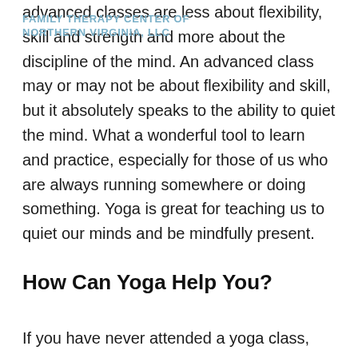FAMILY THERAPY CENTER OF NORTHERN VIRGINIA, LLC
advanced classes are less about flexibility, skill and strength and more about the discipline of the mind. An advanced class may or may not be about flexibility and skill, but it absolutely speaks to the ability to quiet the mind. What a wonderful tool to learn and practice, especially for those of us who are always running somewhere or doing something. Yoga is great for teaching us to quiet our minds and be mindfully present.
How Can Yoga Help You?
If you have never attended a yoga class, see